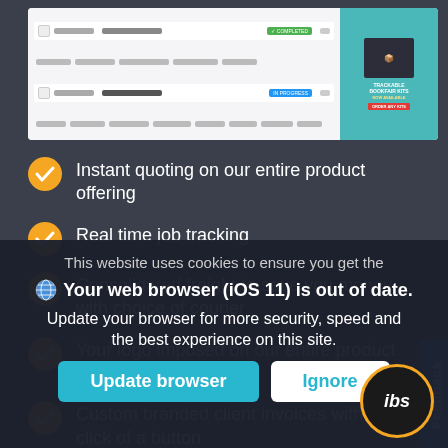[Figure (screenshot): Screenshot of a web application interface showing job listings/descriptions with checkboxes and status badges, alongside a teal advertisement banner for a product]
Instant quoting on our entire product offering
Real time job tracking
Consolidated freight to save you money with choice of courier
Your logo imposed on our entire product offering
Custom branded client invoices with the click of a button
Done-for-you realistic client proofs
This website uses cookies to ensure you get the
Your web browser (iOS 11) is out of date. Update your browser for more security, speed and the best experience on this site.
Update browser
Ignore
[Figure (logo): IBS logo - circular dark background with orange border and white italic IBS text]